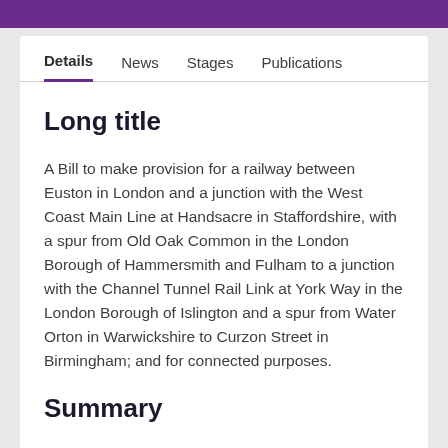Details | News | Stages | Publications
Long title
A Bill to make provision for a railway between Euston in London and a junction with the West Coast Main Line at Handsacre in Staffordshire, with a spur from Old Oak Common in the London Borough of Hammersmith and Fulham to a junction with the Channel Tunnel Rail Link at York Way in the London Borough of Islington and a spur from Water Orton in Warwickshire to Curzon Street in Birmingham; and for connected purposes.
Summary